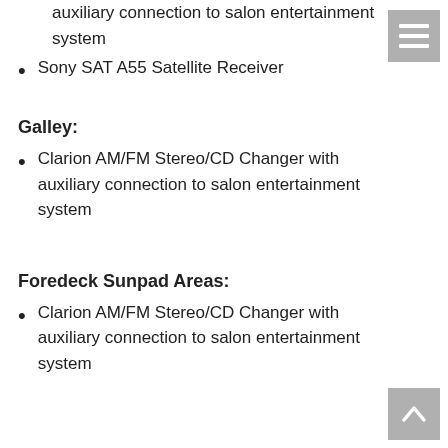auxiliary connection to salon entertainment system
Sony SAT A55 Satellite Receiver
Galley:
Clarion AM/FM Stereo/CD Changer with auxiliary connection to salon entertainment system
Foredeck Sunpad Areas:
Clarion AM/FM Stereo/CD Changer with auxiliary connection to salon entertainment system